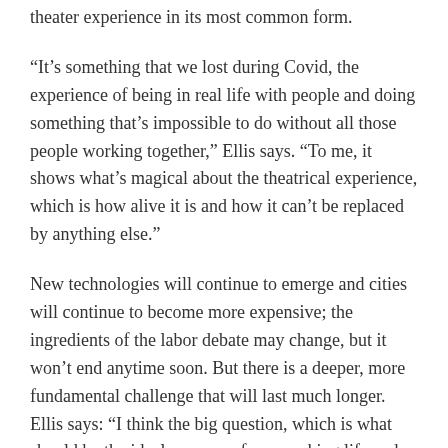theater experience in its most common form.
“It’s something that we lost during Covid, the experience of being in real life with people and doing something that’s impossible to do without all those people working together,” Ellis says. “To me, it shows what’s magical about the theatrical experience, which is how alive it is and how it can’t be replaced by anything else.”
New technologies will continue to emerge and cities will continue to become more expensive; the ingredients of the labor debate may change, but it won’t end anytime soon. But there is a deeper, more fundamental challenge that will last much longer. Ellis says: “I think the big question, which is what should be the ideal purpose of our working life and how we want our society to think about meaningful work – that question was relevant fifty years ago, and will be certainly relevant in the future.”